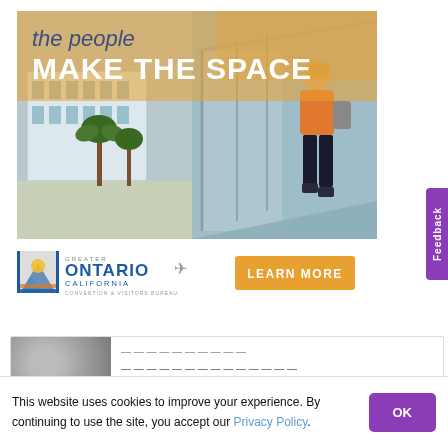[Figure (photo): Advertisement banner for Greater Ontario California Convention & Visitors Bureau. Shows a split image: left side is a modern convention center building exterior with palm trees, right side shows a woman in an orange top walking up a glass-railed ramp/walkway. Orange gradient overlay on top portion. Text reads 'the people MAKE THE SPACE' in white and blue.]
[Figure (logo): Greater Ontario California Convention & Visitors Bureau logo with stylized sun/mountain icon and airplane silhouette, alongside an orange 'LEARN MORE' button]
[Figure (screenshot): Partial content card at bottom showing a thumbnail image on the left with truncated text content on the right]
This website uses cookies to improve your experience. By continuing to use the site, you accept our Privacy Policy.